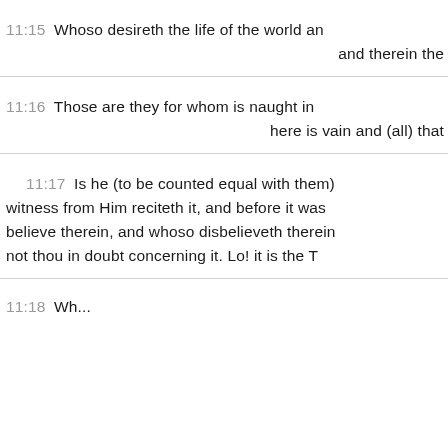11:15 Whoso desireth the life of the world and therein the
11:16 Those are they for whom is naught in here is vain and (all) that
11:17 Is he (to be counted equal with them) witness from Him reciteth it, and before it was believe therein, and whoso disbelieveth therein not thou in doubt concerning it. Lo! it is the T
11:18 Wh...